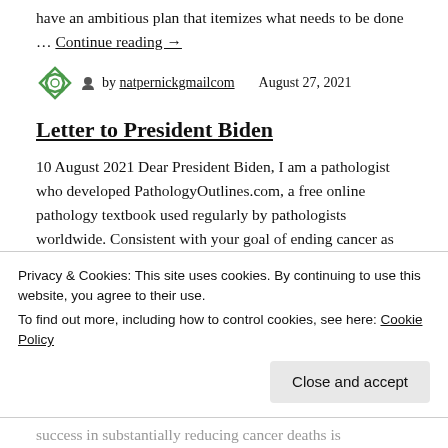have an ambitious plan that itemizes what needs to be done … Continue reading →
by natpernickgmailcom   August 27, 2021
Letter to President Biden
10 August 2021 Dear President Biden, I am a pathologist who developed PathologyOutlines.com, a free online pathology textbook used regularly by pathologists worldwide. Consistent with your goal of ending cancer as we know it, I have developed … Continue reading →
by natpernickgmailcom   August 10, 2021
Privacy & Cookies: This site uses cookies. By continuing to use this website, you agree to their use.
To find out more, including how to control cookies, see here: Cookie Policy
Close and accept
success in substantially reducing cancer deaths is